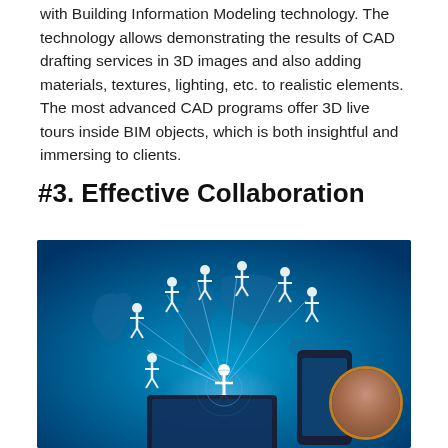with Building Information Modeling technology. The technology allows demonstrating the results of CAD drafting services in 3D images and also adding materials, textures, lighting, etc. to realistic elements. The most advanced CAD programs offer 3D live tours inside BIM objects, which is both insightful and immersing to clients.
#3. Effective Collaboration
[Figure (photo): Illustration of global collaboration network showing interconnected human figures standing on a world map, displayed on a laptop and smartphone screen, symbolizing digital collaboration technology.]